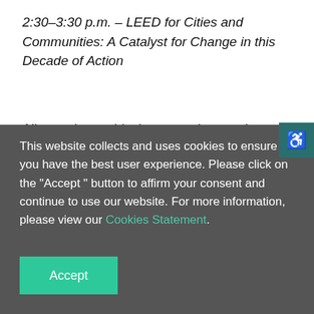2:30–3:30 p.m. – LEED for Cities and Communities: A Catalyst for Change in this Decade of Action
All over the world, change makers at the urban scale—mayors, planners, sustainability directors, designers, developers and investors—are coming together to collaborate and catalyze  a new generation of high-performance cities. This session engages practitioners a…
This website collects and uses cookies to ensure you have the best user experience. Please click on the "Accept " button to affirm your consent and continue to use our website. For more information, please view our Cookies Statement.